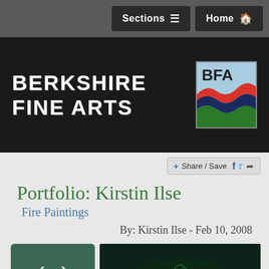Sections   Home
[Figure (logo): Berkshire Fine Arts logo with BFA square graphic showing layered landscape in red, dark blue, and green on light blue background]
Share / Save
Portfolio: Kirstin Ilse
Fire Paintings
By: Kirstin Ilse - Feb 10, 2008
[Figure (photo): Navigation area with left and right arrow buttons on dark teal background, and a dark green painting preview]